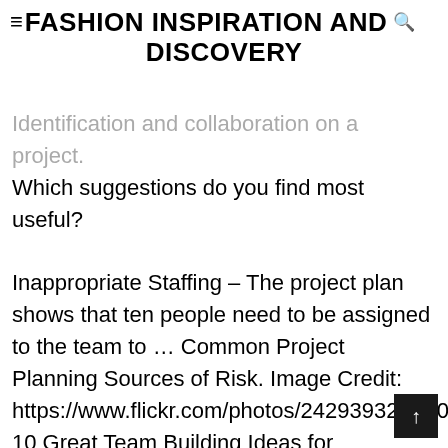FASHION INSPIRATION AND DISCOVERY
Identification and collaboration on a project. Which suggestions do you find most useful? Inappropriate Staffing – The project plan shows that ten people need to be assigned to the team to … Common Project Planning Sources of Risk. Image Credit: https://www.flickr.com/photos/24293932@N00/5… 10 Great Team Building Ideas for Conference Call Activities - Part One, Introducing the Logical Framework Approach. 5. One of the common sources of risk on IT projects is the lack of requirements and specifications. This includes